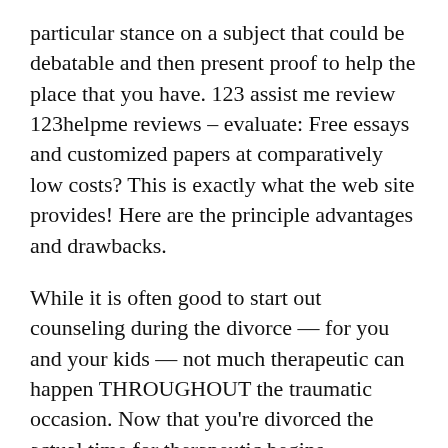particular stance on a subject that could be debatable and then present proof to help the place that you have. 123 assist me review 123helpme reviews – evaluate: Free essays and customized papers at comparatively low costs? This is exactly what the web site provides! Here are the principle advantages and drawbacks.
While it is often good to start out counseling during the divorce — for you and your kids — not much therapeutic can happen THROUGHOUT the traumatic occasion. Now that you're divorced the actual time for therapeutic begins. Counseling and divorce recovery workshops (both grownup and kids packages can be found) are extremely essential and chances are you'll find some in your area right 123 essay here (Divorce Skilled Listings). Should you were abused throughout